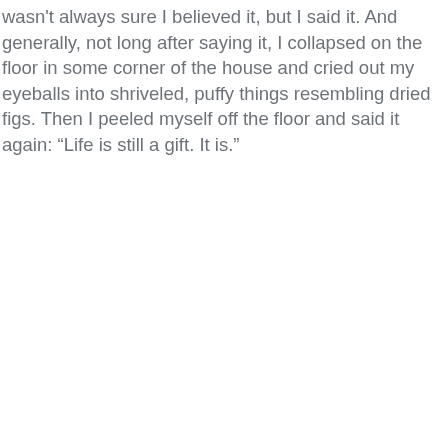wasn't always sure I believed it, but I said it. And generally, not long after saying it, I collapsed on the floor in some corner of the house and cried out my eyeballs into shriveled, puffy things resembling dried figs. Then I peeled myself off the floor and said it again: “Life is still a gift. It is.”